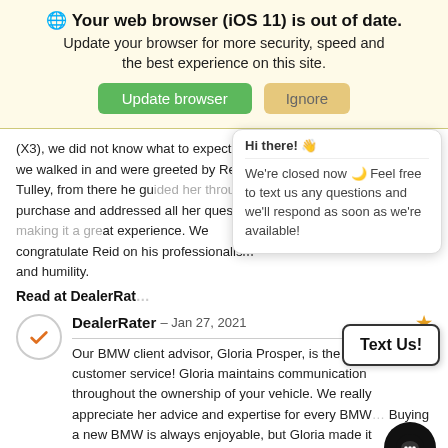🌐 Your web browser (iOS 11) is out of date. Update your browser for more security, speed and the best experience on this site.
(X3), we did not know what to expect until we walked in and were greeted by Reid Tulley, from there he gu... the purchase and addressed all her question... at experience. We congratulate Reid on his professionalism and humility.
Read at DealerRat...
Hi there! 👋
We're closed now 🌙 Feel free to text us any questions and we'll respond as soon as we're available!
DealerRater – Jan 27, 2021
Text Us!
Our BMW client advisor, Gloria Prosper, is the epitome of customer service! Gloria maintains communication throughout the ownership of your vehicle. We really appreciate her advice and expertise for every BMW... Buying a new BMW is always enjoyable, but Gloria made it...